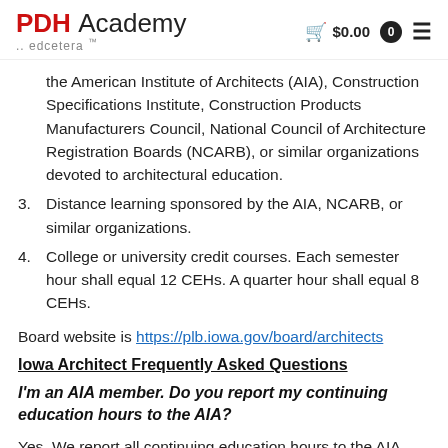PDH Academy .. edcetera  $0.00  0  ☰
the American Institute of Architects (AIA), Construction Specifications Institute, Construction Products Manufacturers Council, National Council of Architecture Registration Boards (NCARB), or similar organizations devoted to architectural education.
3. Distance learning sponsored by the AIA, NCARB, or similar organizations.
4. College or university credit courses. Each semester hour shall equal 12 CEHs. A quarter hour shall equal 8 CEHs.
Board website is https://plb.iowa.gov/board/architects
Iowa Architect Frequently Asked Questions
I'm an AIA member. Do you report my continuing education hours to the AIA?
Yes. We report all continuing education hours to the AIA